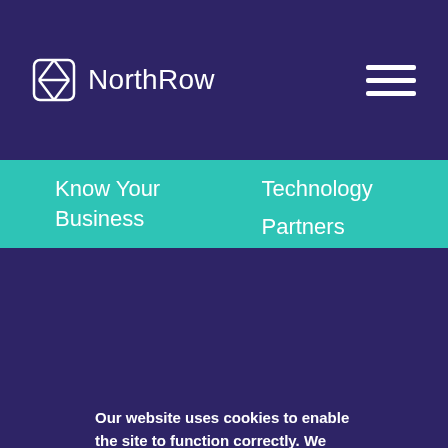NorthRow
Know Your Business
Monitoring
Right to Work
Onboarding
Technology
Partners
Our Client Stories
Careers
Privacy
Our website uses cookies to enable the site to function correctly. We also use non-essential cookies to help improve your experience, including personalising content, providing social media features and to analyse how our site is used. You can accept or reject the use of cookies here.